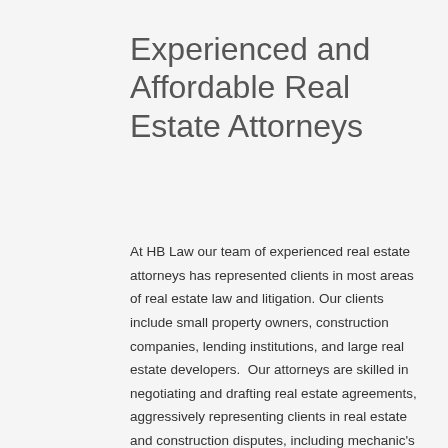Experienced and Affordable Real Estate Attorneys
At HB Law our team of experienced real estate attorneys has represented clients in most areas of real estate law and litigation. Our clients include small property owners, construction companies, lending institutions, and large real estate developers.  Our attorneys are skilled in negotiating and drafting real estate agreements, aggressively representing clients in real estate and construction disputes, including mechanic's liens.  We help collateralize real estate lenders' loans by preparing and recording deeds of trust and we assist those lenders throughout the foreclosure process when necessary.  We associate with other lawyers and consultants with extensive